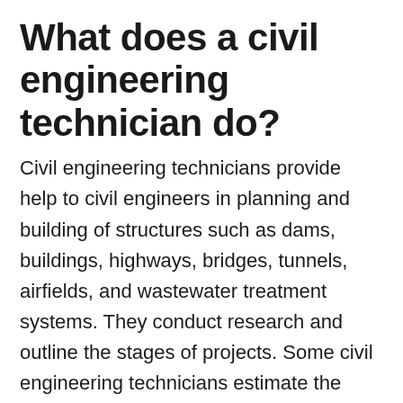What does a civil engineering technician do?
Civil engineering technicians provide help to civil engineers in planning and building of structures such as dams, buildings, highways, bridges, tunnels, airfields, and wastewater treatment systems. They conduct research and outline the stages of projects. Some civil engineering technicians estimate the costs of construction and specify the require materials. Some even help prepare sketches and perform land-